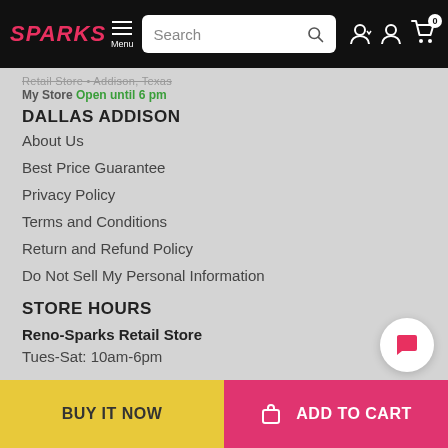SPARKS Menu | Search | Account | Cart (0)
Retail Store • Addison, Texas
My Store Open until 6 pm
DALLAS ADDISON
About Us
Best Price Guarantee
Privacy Policy
Terms and Conditions
Return and Refund Policy
Do Not Sell My Personal Information
STORE HOURS
Reno-Sparks Retail Store
Tues-Sat: 10am-6pm